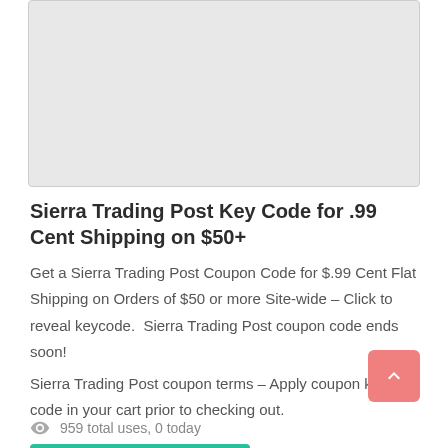[Figure (other): Gray placeholder image box at top of card]
Sierra Trading Post Key Code for .99 Cent Shipping on $50+
Get a Sierra Trading Post Coupon Code for $.99 Cent Flat Shipping on Orders of $50 or more Site-wide – Click to reveal keycode.  Sierra Trading Post coupon code ends soon!
Sierra Trading Post coupon terms – Apply coupon key code in your cart prior to checking out.
[Figure (other): Green SHOW COUPON button with tag icon]
[Figure (other): Pink scroll-to-top arrow button]
959 total uses, 0 today